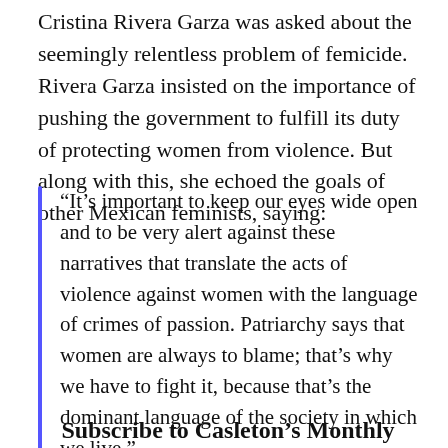Cristina Rivera Garza was asked about the seemingly relentless problem of femicide. Rivera Garza insisted on the importance of pushing the government to fulfill its duty of protecting women from violence. But along with this, she echoed the goals of other Mexican feminists, saying:
“It’s important to keep our eyes wide open and to be very alert against these narratives that translate the acts of violence against women with the language of crimes of passion. Patriarchy says that women are always to blame; that’s why we have to fight it, because that’s the dominant language of the society in which we live.”
Subscribe to Casleton’s Monthly